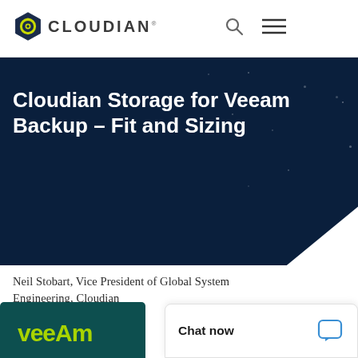CLOUDIAN
Cloudian Storage for Veeam Backup – Fit and Sizing
Neil Stobart, Vice President of Global System Engineering, Cloudian
[Figure (logo): Veeam logo on dark teal background]
Chat now